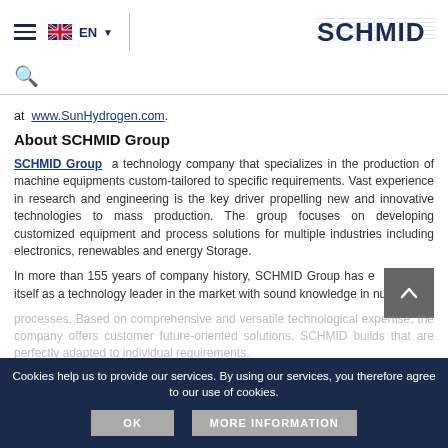[Figure (screenshot): Website header with hamburger menu, EN language selector with UK flag, vertical divider, and SCHMID logo on the right]
[Figure (screenshot): Search icon (magnifying glass)]
at  www.SunHydrogen.com.
About SCHMID Group
SCHMID Group  a technology company that specializes in the production of machine equipments custom-tailored to specific requirements. Vast experience in research and engineering is the key driver propelling new and innovative technologies to mass production. The group focuses on developing customized equipment and process solutions for multiple industries including electronics, renewables and energy Storage.
In more than 155 years of company history, SCHMID Group has established itself as a technology leader in the market with sound knowledge in numerous processes. Based on comprehensive and versatile technological expertise, the company offers customer future-oriented solutions. SCHMID builds that are perfectly adapted to individual requirements.
Cookies help us to provide our services. By using our services, you therefore agree to our use of cookies.